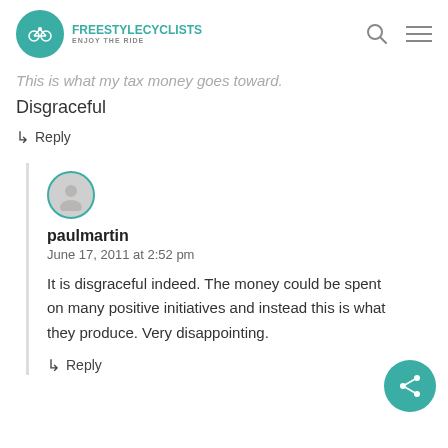FREESTYLE CYCLISTS - Enjoy the ride
This is what my tax money goes toward. Disgraceful
↳ Reply
[Figure (illustration): User avatar placeholder circle with teal border]
paulmartin
June 17, 2011 at 2:52 pm
It is disgraceful indeed. The money could be spent on many positive initiatives and instead this is what they produce. Very disappointing.
↳ Reply